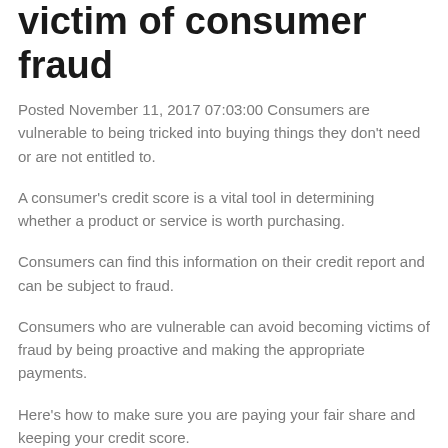victim of consumer fraud
Posted November 11, 2017 07:03:00 Consumers are vulnerable to being tricked into buying things they don't need or are not entitled to.
A consumer's credit score is a vital tool in determining whether a product or service is worth purchasing.
Consumers can find this information on their credit report and can be subject to fraud.
Consumers who are vulnerable can avoid becoming victims of fraud by being proactive and making the appropriate payments.
Here's how to make sure you are paying your fair share and keeping your credit score.